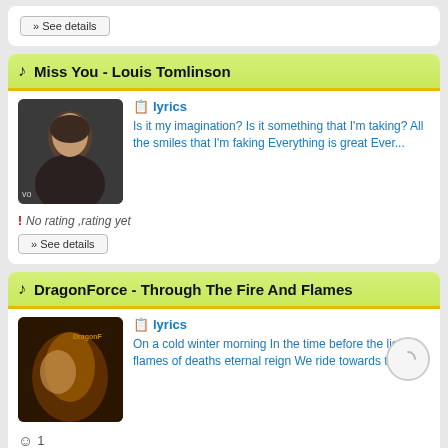» See details
Miss You - Louis Tomlinson
[Figure (photo): Thumbnail image of Louis Tomlinson music video, dark background, young man visible]
lyrics
Is it my imagination? Is it something that I'm taking? All the smiles that I'm faking Everything is great Ever...
! No rating ,rating yet
» See details
DragonForce - Through The Fire And Flames
[Figure (photo): Thumbnail image of DragonForce music video, dark warm tones, DragonForce logo visible]
lyrics
On a cold winter morning In the time before the light In flames of deaths eternal reign We ride towards the fi...
☺ 1
» See details